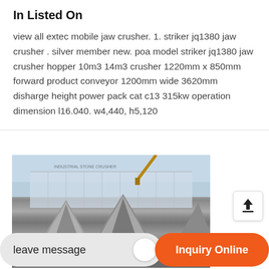In Listed On
view all extec mobile jaw crusher. 1. striker jq1380 jaw crusher . silver member new. poa model striker jq1380 jaw crusher hopper 10m3 14m3 crusher 1220mm x 850mm forward product conveyor 1200mm wide 3620mm disharge height power pack cat c13 315kw operation dimension l16.040. w4,440, h5,120
[Figure (photo): Photo of industrial jaw crusher equipment showing large conical stone crushing machinery outdoors]
leave message
Inquiry Online